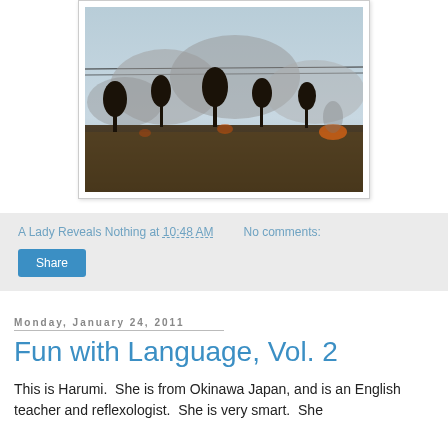[Figure (photo): Outdoor scene showing a grassland or field fire with smoke rising and sparse trees silhouetted against a hazy sky.]
A Lady Reveals Nothing at 10:48 AM   No comments:
Share
Monday, January 24, 2011
Fun with Language, Vol. 2
This is Harumi.  She is from Okinawa Japan, and is an English teacher and reflexologist.  She is very smart.  She